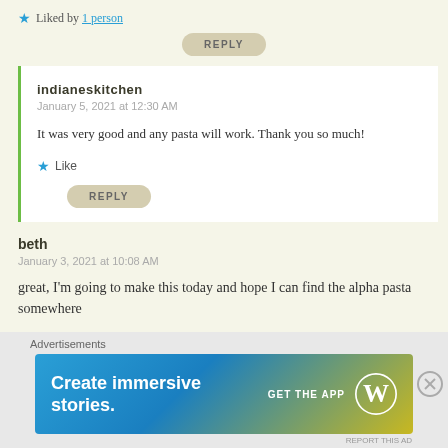★ Liked by 1 person
REPLY
indianeskitchen
January 5, 2021 at 12:30 AM
It was very good and any pasta will work. Thank you so much!
★ Like
REPLY
beth
January 3, 2021 at 10:08 AM
great, I'm going to make this today and hope I can find the alpha pasta somewhere
Advertisements
[Figure (infographic): WordPress advertisement banner reading 'Create immersive stories.' with 'GET THE APP' call to action and WordPress logo on a blue-to-yellow gradient background]